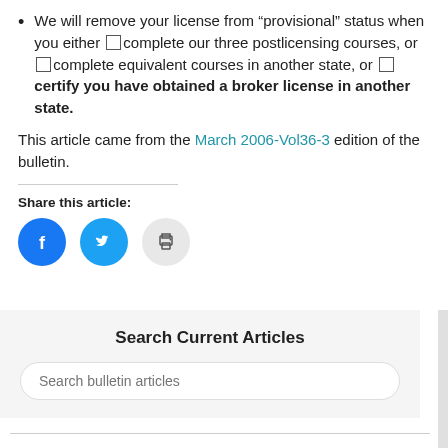We will remove your license from “provisional” status when you either ☐complete our three postlicensing courses, or ☐complete equivalent courses in another state, or ☐certify you have obtained a broker license in another state.
This article came from the March 2006-Vol36-3 edition of the bulletin.
Share this article:
[Figure (other): Social share icons: Facebook (blue circle), Twitter (blue circle), Print (gray circle)]
Search Current Articles
Search bulletin articles